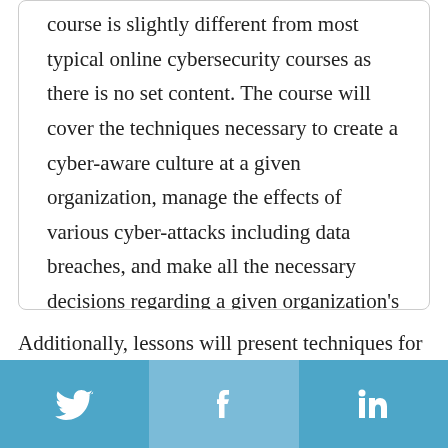course is slightly different from most typical online cybersecurity courses as there is no set content. The course will cover the techniques necessary to create a cyber-aware culture at a given organization, manage the effects of various cyber-attacks including data breaches, and make all the necessary decisions regarding a given organization's cybersecurity setup.
Additionally, lessons will present techniques for assessing risks, reducing vulnerabilities, and improving defenses in a given organization. The